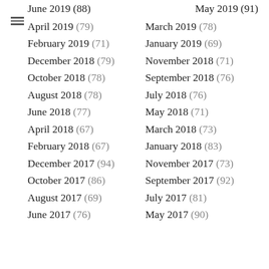June 2019 (88)
May 2019 (91)
April 2019 (79)
March 2019 (78)
February 2019 (71)
January 2019 (69)
December 2018 (79)
November 2018 (71)
October 2018 (78)
September 2018 (76)
August 2018 (78)
July 2018 (76)
June 2018 (77)
May 2018 (71)
April 2018 (67)
March 2018 (73)
February 2018 (67)
January 2018 (83)
December 2017 (94)
November 2017 (73)
October 2017 (86)
September 2017 (92)
August 2017 (69)
July 2017 (81)
June 2017 (76)
May 2017 (90)